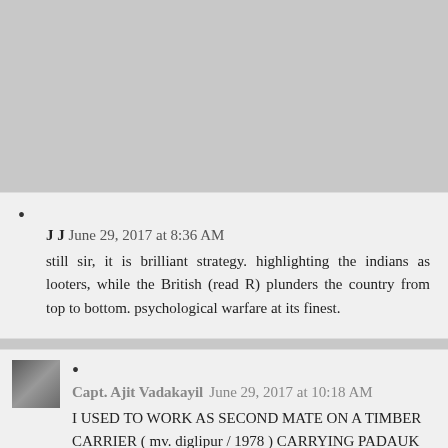J J  June 29, 2017 at 8:36 AM

still sir, it is brilliant strategy. highlighting the indians as looters, while the British (read R) plunders the country from top to bottom. psychological warfare at its finest.
Capt. Ajit Vadakayil  June 29, 2017 at 10:18 AM

I USED TO WORK AS SECOND MATE ON A TIMBER CARRIER ( mv. diglipur / 1978 ) CARRYING PADAUK ...